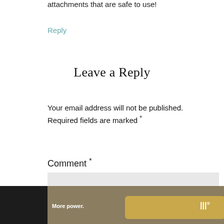attachments that are safe to use!
Reply
Leave a Reply
Your email address will not be published. Required fields are marked *
Comment *
[Figure (screenshot): Advertisement banner: dark background with car image, 'More power.' text, Subaru logo with 'Explore' button, and a W° logo on the right]